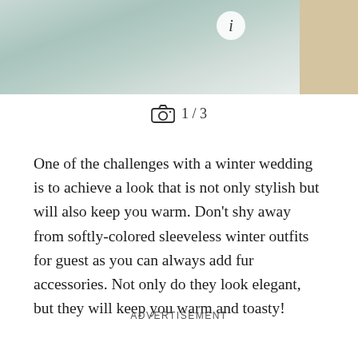[Figure (photo): Top portion of page showing a wedding photo with soft teal/sage fabric draped over white background, partially visible. A small circular info button with italic 'i' is visible in the top right of the main photo. A secondary image strip in gold/beige is visible on the far right edge.]
1 / 3
One of the challenges with a winter wedding is to achieve a look that is not only stylish but will also keep you warm. Don’t shy away from softly-colored sleeveless winter outfits for guest as you can always add fur accessories. Not only do they look elegant, but they will keep you warm and toasty!
ADVERTISEMENT